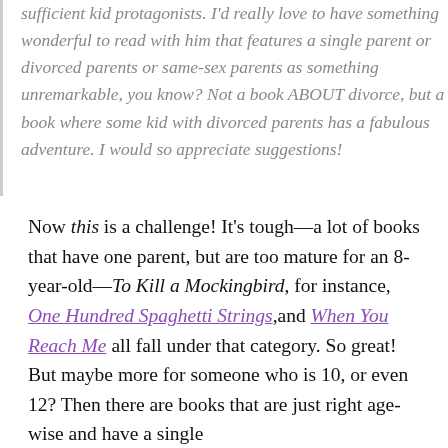sufficient kid protagonists. I'd really love to have something wonderful to read with him that features a single parent or divorced parents or same-sex parents as something unremarkable, you know? Not a book ABOUT divorce, but a book where some kid with divorced parents has a fabulous adventure. I would so appreciate suggestions!
Now this is a challenge! It's tough—a lot of books that have one parent, but are too mature for an 8-year-old—To Kill a Mockingbird, for instance, One Hundred Spaghetti Strings, and When You Reach Me all fall under that category. So great! But maybe more for someone who is 10, or even 12? Then there are books that are just right age-wise and have a single